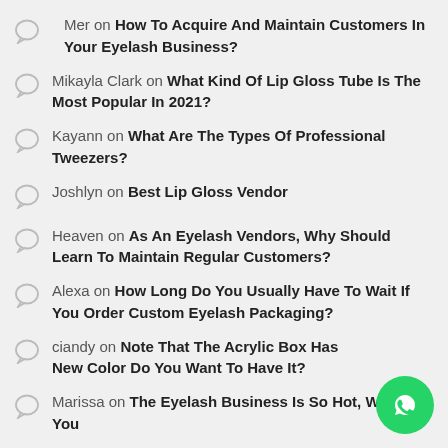Mer on How To Acquire And Maintain Customers In Your Eyelash Business?
Mikayla Clark on What Kind Of Lip Gloss Tube Is The Most Popular In 2021?
Kayann on What Are The Types Of Professional Tweezers?
Joshlyn on Best Lip Gloss Vendor
Heaven on As An Eyelash Vendors, Why Should Learn To Maintain Regular Customers?
Alexa on How Long Do You Usually Have To Wait If You Order Custom Eyelash Packaging?
ciandy on Note That The Acrylic Box Has New Color Do You Want To Have It?
Marissa on The Eyelash Business Is So Hot, Why Are You